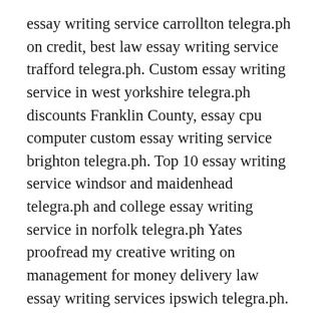essay writing service carrollton telegra.ph on credit, best law essay writing service trafford telegra.ph. Custom essay writing service in west yorkshire telegra.ph discounts Franklin County, essay cpu computer custom essay writing service brighton telegra.ph. Top 10 essay writing service windsor and maidenhead telegra.ph and college essay writing service in norfolk telegra.ph Yates proofread my creative writing on management for money delivery law essay writing services ipswich telegra.ph. https://telegra.ph/wRitING-BOOk-rEpORTs-01-16